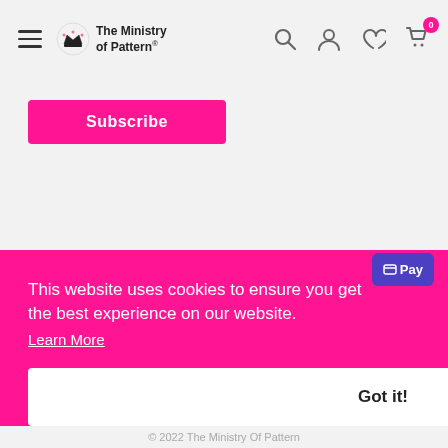[Figure (logo): The Ministry of Pattern logo with crown icon and site navigation icons (search, account, wishlist, cart with 0 badge)]
Subscribe
Follow Us
[Figure (illustration): Three social media icons: Facebook, Instagram, Pinterest in grey circles]
This website uses cookies to ensure you get the best experience on our website. Learn More
Got it!
[Figure (logo): OPay payment badge in purple]
© 2022 The Ministry Of Pattern